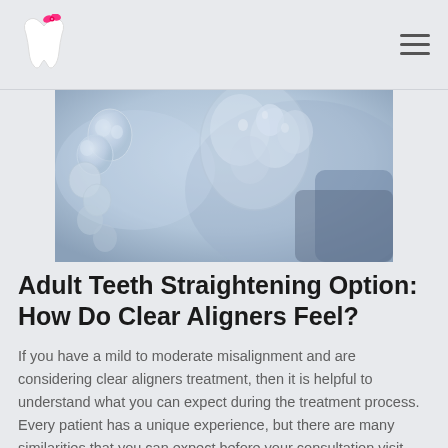[Figure (photo): Close-up photo of a clear dental aligner/retainer with water droplets, on a light blue-grey background]
Adult Teeth Straightening Option: How Do Clear Aligners Feel?
If you have a mild to moderate misalignment and are considering clear aligners treatment, then it is helpful to understand what you can expect during the treatment process. Every patient has a unique experience, but there are many similarities that you can expect before your consultation visit. Clear aligners for adults offer a unique way to...